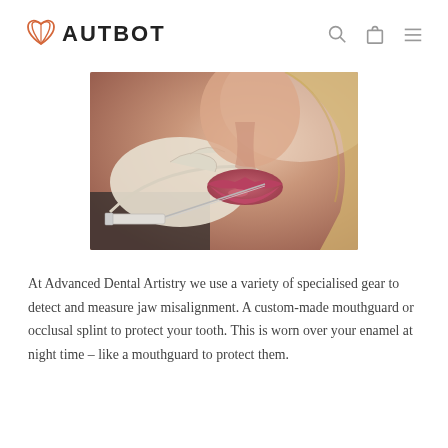AUTBOT
[Figure (photo): Close-up photo of a gloved hand holding a syringe near a person's lips, medical/cosmetic procedure context]
At Advanced Dental Artistry we use a variety of specialised gear to detect and measure jaw misalignment. A custom-made mouthguard or occlusal splint to protect your tooth. This is worn over your enamel at night time – like a mouthguard to protect them.